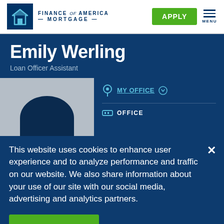[Figure (logo): Finance of America Mortgage logo with dark blue square icon on left and brand text on right]
Emily Werling
Loan Officer Assistant
[Figure (photo): Profile photo placeholder with gray background and dark blue silhouette]
MY OFFICE
OFFICE
This website uses cookies to enhance user experience and to analyze performance and traffic on our website. We also share information about your use of our site with our social media, advertising and analytics partners.